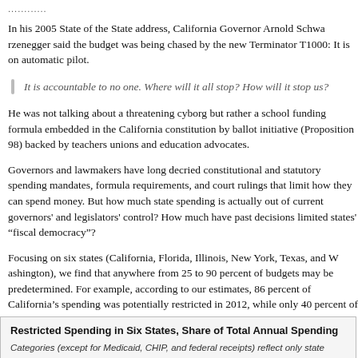............
In his 2005 State of the State address, California Governor Arnold Schwarzenegger said the budget was being chased by the new Terminator T1000: It is on automatic pilot.
It is accountable to no one. Where will it all stop? How will it stop us?
He was not talking about a threatening cyborg but rather a school funding formula embedded in the California constitution by ballot initiative (Proposition 98) backed by teachers unions and education advocates.
Governors and lawmakers have long decried constitutional and statutory spending mandates, formula requirements, and court rulings that limit how they can spend money. But how much state spending is actually out of current governors' and legislators' control? How much have past decisions limited states' “fiscal democracy”?
Focusing on six states (California, Florida, Illinois, New York, Texas, and Washington), we find that anywhere from 25 to 90 percent of budgets may be predetermined. For example, according to our estimates, 86 percent of California’s spending was potentially restricted in 2012, while only 40 percent of California spending was restricted in that year.
Restricted Spending in Six States, Share of Total Annual Spending
Categories (except for Medicaid, CHIP, and federal receipts) reflect only state